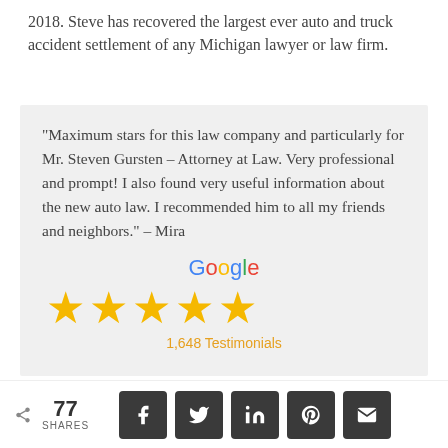2018. Steve has recovered the largest ever auto and truck accident settlement of any Michigan lawyer or law firm.
"Maximum stars for this law company and particularly for Mr. Steven Gursten – Attorney at Law. Very professional and prompt! I also found very useful information about the new auto law. I recommended him to all my friends and neighbors." – Mira
[Figure (other): Google logo with 5 gold stars and '1,648 Testimonials' text below]
< 77 SHARES